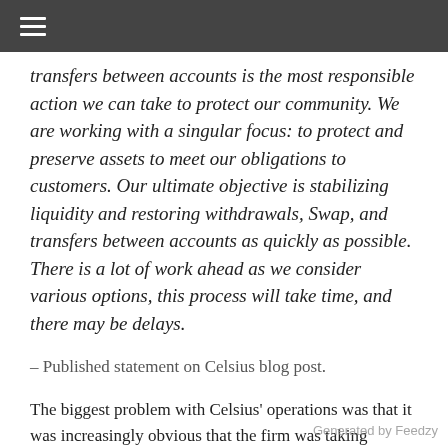≡
transfers between accounts is the most responsible action we can take to protect our community. We are working with a singular focus: to protect and preserve assets to meet our obligations to customers. Our ultimate objective is stabilizing liquidity and restoring withdrawals, Swap, and transfers between accounts as quickly as possible. There is a lot of work ahead as we consider various options, this process will take time, and there may be delays.
– Published statement on Celsius blog post.
The biggest problem with Celsius' operations was that it was increasingly obvious that the firm was taking extreme risk with user funds that were often not able to be properly quantified. Thus, when